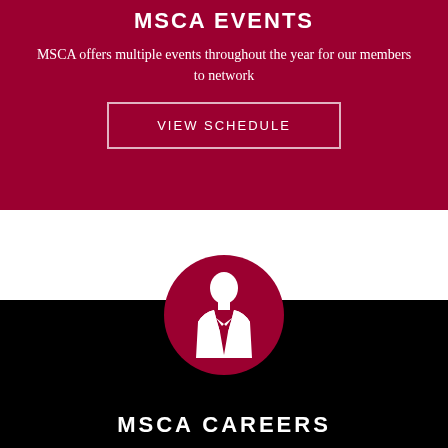MSCA EVENTS
MSCA offers multiple events throughout the year for our members to network
VIEW SCHEDULE
[Figure (illustration): A white silhouette of a business person in a suit and tie on a dark red/crimson circular background, centered between the two colored sections.]
MSCA CAREERS